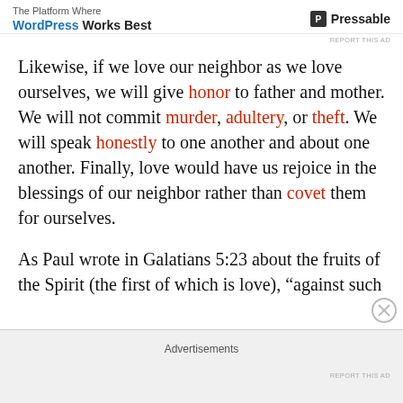The Platform Where WordPress Works Best | Pressable
Likewise, if we love our neighbor as we love ourselves, we will give honor to father and mother. We will not commit murder, adultery, or theft. We will speak honestly to one another and about one another. Finally, love would have us rejoice in the blessings of our neighbor rather than covet them for ourselves.
As Paul wrote in Galatians 5:23 about the fruits of the Spirit (the first of which is love), “against such
Advertisements